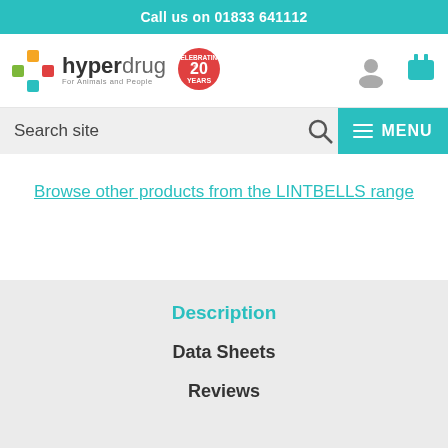Call us on 01833 641112
[Figure (logo): Hyperdrug logo with cross icon and 'Celebrating 20 Years' badge, plus user and cart icons]
Search site
MENU
Browse other products from the LINTBELLS range
Description
Data Sheets
Reviews